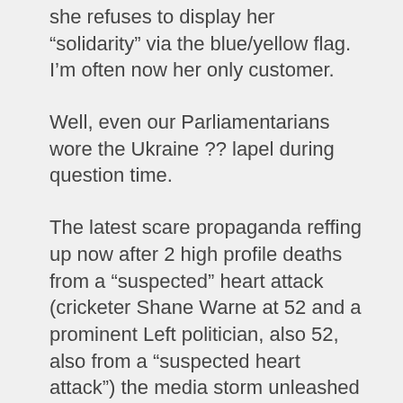she refuses to display her “solidarity” via the blue/yellow flag. I’m often now her only customer.
Well, even our Parliamentarians wore the Ukraine ?? lapel during question time.
The latest scare propaganda reffing up now after 2 high profile deaths from a “suspected” heart attack (cricketer Shane Warne at 52 and a prominent Left politician, also 52, also from a “suspected heart attack”) the media storm unleashed tells us to be very very very concerned about our heart health.